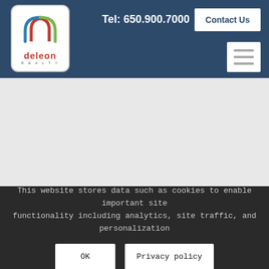[Figure (logo): DeLeon Realty logo with house icon in red, blue, and green outline, with text 'deleon REALTY']
Tel: 650.900.7000
Contact Us
[Figure (other): Hamburger menu icon with three horizontal lines]
[Figure (other): Large empty gray content area]
This website stores data such as cookies to enable important site functionality including analytics, site traffic, and personalization
OK
Privacy policy